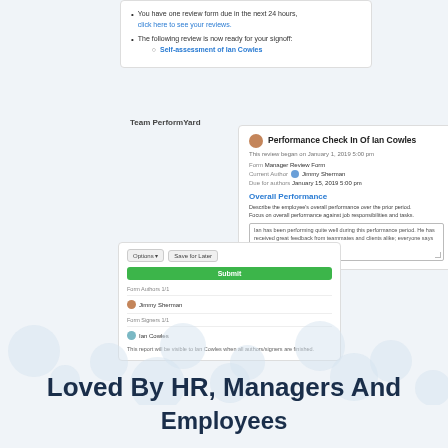[Figure (screenshot): Screenshot of PerformYard performance review software showing email notification with review due alerts, a Performance Check In form for Ian Cowles filled out by Jimmy Sherman, and a left-side panel showing form authors and signers with a Submit button.]
Loved By HR, Managers And